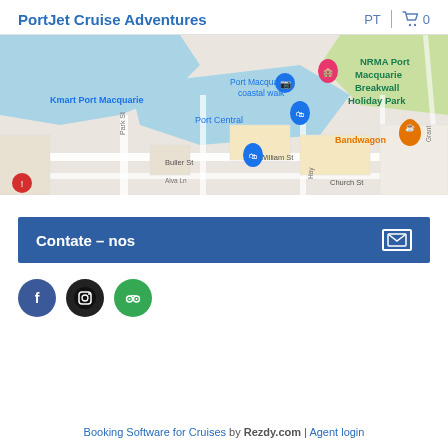PortJet Cruise Adventures  PT  0
[Figure (map): Google Maps view of Port Macquarie area showing Port Central, NRMA Port Macquarie Breakwall Holiday Park, Kmart Port Macquarie, Bandwagon, and streets including William St, Buller St, Park St, Church St, Alva Ln]
Contate – nos
[Figure (other): Social media icons: Facebook (blue circle), Instagram (black circle), TripAdvisor (green circle)]
Booking Software for Cruises by Rezdy.com | Agent login